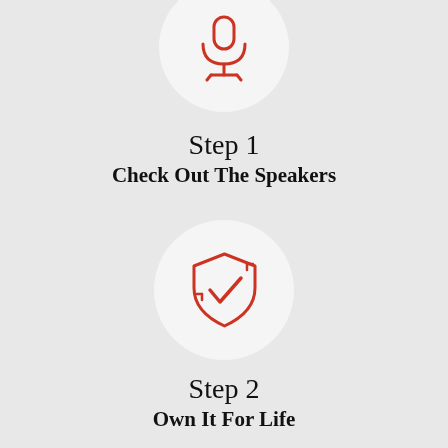[Figure (illustration): Red microphone icon inside a white circle, partially cropped at top]
Step 1
Check Out The Speakers
[Figure (illustration): Red shield with checkmark icon inside a white circle]
Step 2
Own It For Life